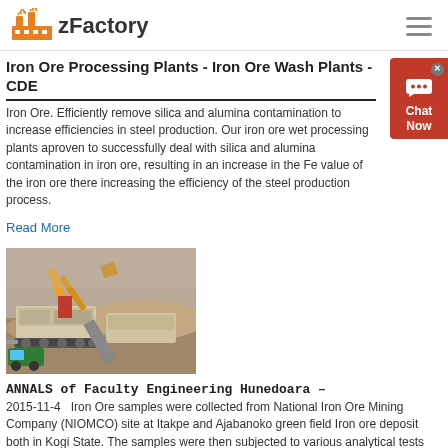zFactory
Iron Ore Processing Plants - Iron Ore Wash Plants - CDE
Iron Ore. Efficiently remove silica and alumina contamination to increase efficiencies in steel production. Our iron ore wet processing plants are proven to successfully deal with silica and alumina contamination in iron ore, resulting in an increase in the Fe value of the iron ore thereby increasing the efficiency of the steel production process.
Read More
[Figure (photo): Mining equipment including an excavator and processing machinery at an open-pit mine site]
ANNALS of Faculty Engineering Hunedoara –
2015-11-4   Iron Ore samples were collected from National Iron Ore Mining Company (NIOMCO) site at Itakpe and Ajabanoko green field Iron ore deposit both in Kogi State. The samples were then subjected to various analytical tests and beneficiation studies to determine the